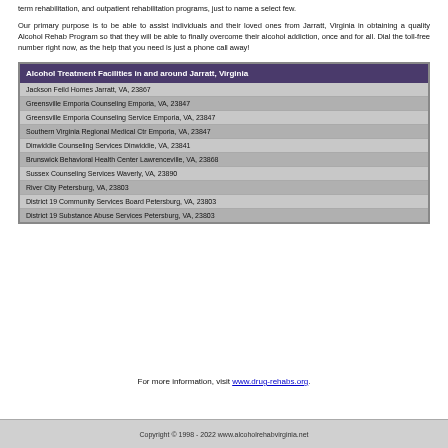term rehabilitation, and outpatient rehabilitation programs, just to name a select few.
Our primary purpose is to be able to assist individuals and their loved ones from Jarratt, Virginia in obtaining a quality Alcohol Rehab Program so that they will be able to finally overcome their alcohol addiction, once and for all. Dial the toll-free number right now, as the help that you need is just a phone call away!
| Alcohol Treatment Facilities in and around Jarratt, Virginia |
| --- |
| Jackson Feild Homes Jarratt, VA, 23867 |
| Greensville Emporia Counseling Emporia, VA, 23847 |
| Greensville Emporia Counseling Service Emporia, VA, 23847 |
| Southern Virginia Regional Medical Ctr Emporia, VA, 23847 |
| Dinwiddie Counseling Services Dinwiddie, VA, 23841 |
| Brunswick Behavioral Health Center Lawrenceville, VA, 23868 |
| Sussex Counseling Services Waverly, VA, 23890 |
| River City Petersburg, VA, 23803 |
| District 19 Community Services Board Petersburg, VA, 23803 |
| District 19 Substance Abuse Services Petersburg, VA, 23803 |
For more information, visit www.drug-rehabs.org.
Copyright © 1998 - 2022 www.alcoholrehabvirginia.net